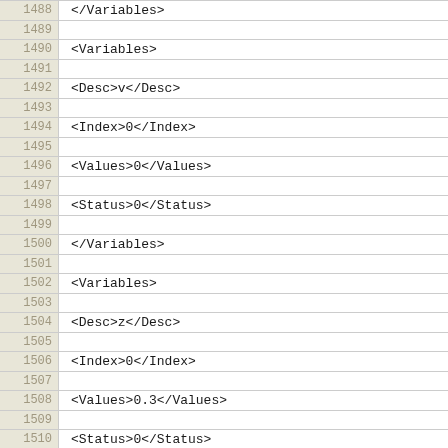| line | code |
| --- | --- |
| 1488 | </Variables> |
| 1489 |  |
| 1490 | <Variables> |
| 1491 |  |
| 1492 | <Desc>v</Desc> |
| 1493 |  |
| 1494 | <Index>0</Index> |
| 1495 |  |
| 1496 | <Values>0</Values> |
| 1497 |  |
| 1498 | <Status>0</Status> |
| 1499 |  |
| 1500 | </Variables> |
| 1501 |  |
| 1502 | <Variables> |
| 1503 |  |
| 1504 | <Desc>z</Desc> |
| 1505 |  |
| 1506 | <Index>0</Index> |
| 1507 |  |
| 1508 | <Values>0.3</Values> |
| 1509 |  |
| 1510 | <Status>0</Status> |
| 1511 |  |
| 1512 | <Index>1</Index> |
| 1513 |  |
| 1514 | <Values>0.3</Values> |
| 1515 |  |
| 1516 | <Status>0</Status> |
| 1517 |  |
| 1518 | <Index>2</Index> |
| 1519 |  |
| 1520 | <Values>0.4</Values> |
| 1521 |  |